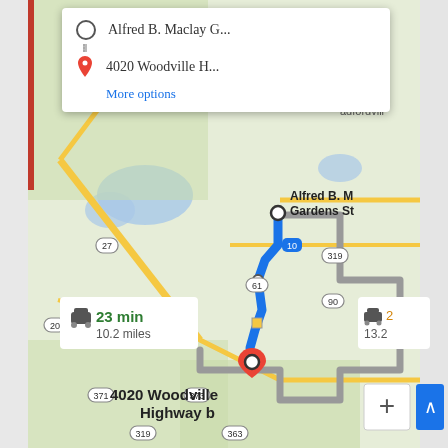[Figure (map): Google Maps screenshot showing driving directions from Alfred B. Maclay Gardens State Park to 4020 Woodville Highway, Tallahassee, FL. The route (shown in blue) travels south along route 10/61 for 10.2 miles. A secondary route is shown in gray. Route labels: 27, 10, 319, 61, 90, 371, 373, 363. Route info shows 23 min, 10.2 miles (primary) and 13.2 miles (secondary).]